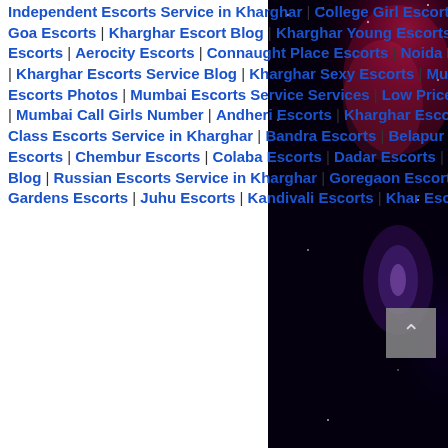Independent Escorts Service in Kharghar | College Girl Escorts Service in Kharghar | Goa Escorts | Kharghar Escort Blog | Kharghar Young Escorts | Pune Escorts | Delhi Escorts | Aerocity Escorts | Connaught Place Escorts | Noida Escorts | Surat Escorts | Kharghar Escorts Service Blog | Kharghar Sexy Escorts | Mumbai Escorts | Mumbai Escorts Photos | Mumbai Escorts Service Services | Low Price Mumbai Escort Rates | Mumbai Call Girls Number | Andheri Escorts | Kharghar Escort Service Blog | High Class Escorts Service in Kharghar | Bandra Escorts | Belapur Escorts | Borivali Escorts | Chembur Escorts | Colaba Escorts | Dadar Escorts | Escorts in Kharghar Blog | Russian Escorts Service in Kharghar | Goregaon Escorts | Hiranandani Gardens Escorts | Juhu Escorts | Kandivali Escorts | Khar Escorts